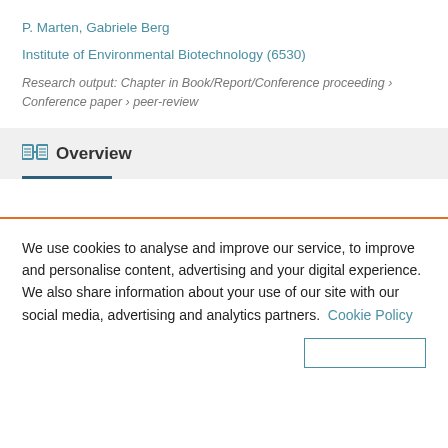P. Marten, Gabriele Berg
Institute of Environmental Biotechnology (6530)
Research output: Chapter in Book/Report/Conference proceeding › Conference paper › peer-review
Overview
We use cookies to analyse and improve our service, to improve and personalise content, advertising and your digital experience. We also share information about your use of our site with our social media, advertising and analytics partners.  Cookie Policy